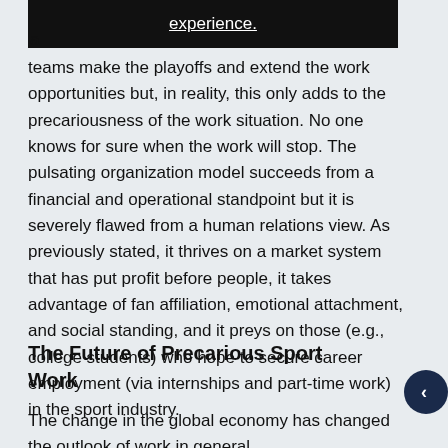experience.
a
teams make the playoffs and extend the work opportunities but, in reality, this only adds to the precariousness of the work situation. No one knows for sure when the work will stop. The pulsating organization model succeeds from a financial and operational standpoint but it is severely flawed from a human relations view. As previously stated, it thrives on a market system that has put profit before people, it takes advantage of fan affiliation, emotional attachment, and social standing, and it preys on those (e.g., college students) who hope to secure career employment (via internships and part-time work) in the sport industry.
The Future of Precarious Sport Work
The change in the global economy has changed the outlook of work in general.